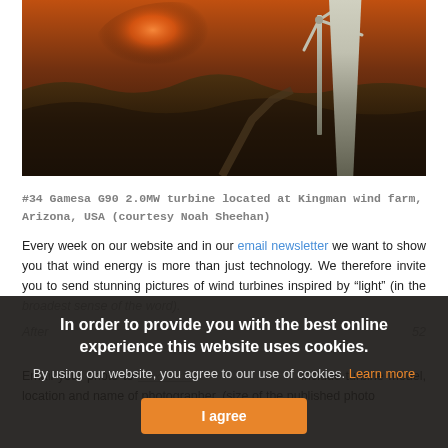[Figure (photo): Aerial drone photograph of a wind turbine at dusk/sunset over rugged terrain at Kingman wind farm, Arizona, USA. The turbine tower and blades are visible against an orange and dark sky.]
#34 Gamesa G90 2.0MW turbine located at Kingman wind farm, Arizona, USA (courtesy Noah Sheehan)
Every week on our website and in our email newsletter we want to show you that wind energy is more than just technology. We therefore invite you to send stunning pictures of wind turbines inspired by “light” (in the broadest sense of the word).
After 52 ...
Email your photo to ... include turbine model, location and name of photographer. (size of the published photo
In order to provide you with the best online experience this website uses cookies.
By using our website, you agree to our use of cookies. Learn more
I agree